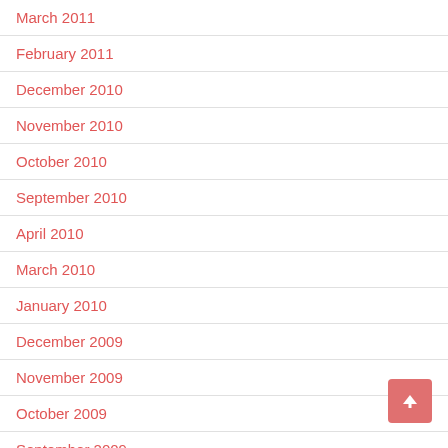March 2011
February 2011
December 2010
November 2010
October 2010
September 2010
April 2010
March 2010
January 2010
December 2009
November 2009
October 2009
September 2009